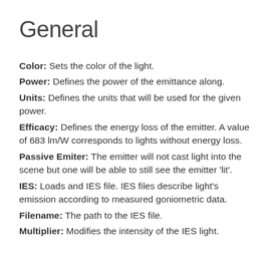General
Color: Sets the color of the light.
Power: Defines the power of the emittance along.
Units: Defines the units that will be used for the given power.
Efficacy: Defines the energy loss of the emitter. A value of 683 lm/W corresponds to lights without energy loss.
Passive Emiter: The emitter will not cast light into the scene but one will be able to still see the emitter 'lit'.
IES: Loads and IES file. IES files describe light's emission according to measured goniometric data.
Filename: The path to the IES file.
Multiplier: Modifies the intensity of the IES light.